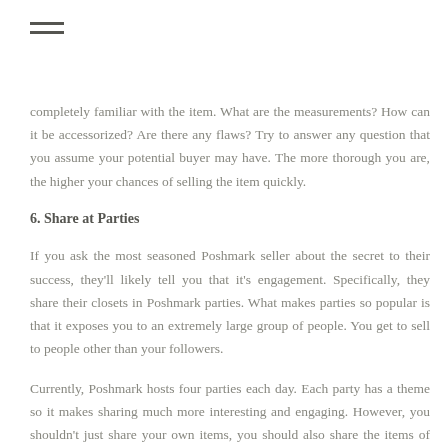[Figure (other): Hamburger menu icon with two horizontal lines]
completely familiar with the item. What are the measurements? How can it be accessorized? Are there any flaws? Try to answer any question that you assume your potential buyer may have. The more thorough you are, the higher your chances of selling the item quickly.
6. Share at Parties
If you ask the most seasoned Poshmark seller about the secret to their success, they'll likely tell you that it's engagement. Specifically, they share their closets in Poshmark parties. What makes parties so popular is that it exposes you to an extremely large group of people. You get to sell to people other than your followers.
Currently, Poshmark hosts four parties each day. Each party has a theme so it makes sharing much more interesting and engaging. However, you shouldn't just share your own items, you should also share the items of others. Sometimes people